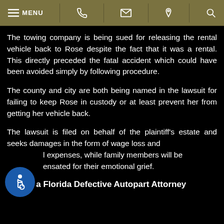MENU [phone] [email] [location] [search]
The towing company is being sued for releasing the rental vehicle back to Rose despite the fact that it was a rental. This directly preceded the fatal accident which could have been avoided simply by following procedure.
The county and city are both being named in the lawsuit for failing to keep Rose in custody or at least prevent her from getting her vehicle back.
The lawsuit is filed on behalf of the plaintiff's estate and seeks damages in the form of wage loss and [medical] expenses, while family members will be compensated for their emotional grief.
Talk to a Florida Defective Autopart Attorney